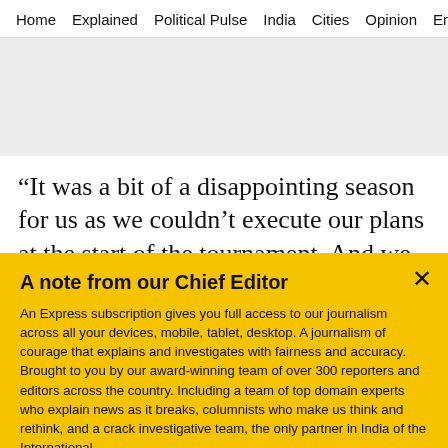Home  Explained  Political Pulse  India  Cities  Opinion  Entertainment
[Figure (other): Gray advertisement/banner placeholder area]
“It was a bit of a disappointing season for us as we couldn’t execute our plans at the start of the tournament. And we know that in tournaments
A note from our Chief Editor
An Express subscription gives you full access to our journalism across all your devices, mobile, tablet, desktop. A journalism of courage that explains and investigates with fairness and accuracy. Brought to you by our award-winning team of over 300 reporters and editors across the country. Including a team of top domain experts who explain news as it breaks, columnists who make us think and rethink, and a crack investigative team, the only partner in India of the International
Buy Now →